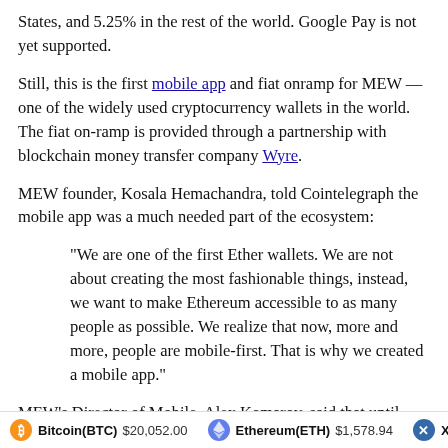States, and 5.25% in the rest of the world. Google Pay is not yet supported.
Still, this is the first mobile app and fiat onramp for MEW — one of the widely used cryptocurrency wallets in the world. The fiat on-ramp is provided through a partnership with blockchain money transfer company Wyre.
MEW founder, Kosala Hemachandra, told Cointelegraph the mobile app was a much needed part of the ecosystem:
“We are one of the first Ether wallets. We are not about creating the most fashionable things, instead, we want to make Ethereum accessible to as many people as possible. We realize that now, more and more, people are mobile-first. That is why we created a mobile app.”
MEW’s Director of Mobile, Alex Komarov, said that until now a fast fiat onramp did not “exist, no one has built it before”.
“You need to verify your identity, make a deposit, get it cleared, verify your identity,” he said of the tedious purchasing process for newcomers. “Now, you can do it in one minute, and if you have
Bitcoin(BTC) $20,052.00   Ethereum(ETH) $1,578.94   XRP(